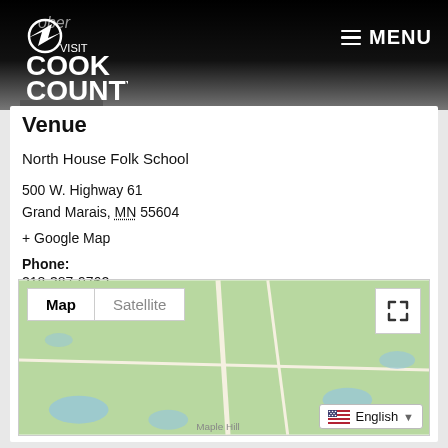Visit Cook County Minnesota - Naturally Unforgettable | MENU
Venue
North House Folk School
500 W. Highway 61
Grand Marais, MN 55604
+ Google Map
Phone:
218-387-9762
Website:
http://www.northhouse.org/
[Figure (map): Google Map showing the area around Grand Marais, MN with Map and Satellite toggle buttons and a fullscreen button. Green terrain map with roads and water features visible.]